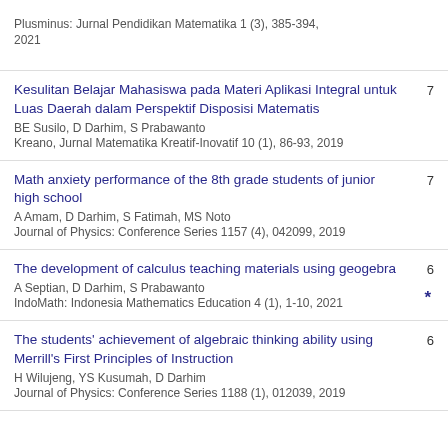Plusminus: Jurnal Pendidikan Matematika 1 (3), 385-394, 2021
Kesulitan Belajar Mahasiswa pada Materi Aplikasi Integral untuk Luas Daerah dalam Perspektif Disposisi Matematis
BE Susilo, D Darhim, S Prabawanto
Kreano, Jurnal Matematika Kreatif-Inovatif 10 (1), 86-93, 2019
7
Math anxiety performance of the 8th grade students of junior high school
A Amam, D Darhim, S Fatimah, MS Noto
Journal of Physics: Conference Series 1157 (4), 042099, 2019
7
The development of calculus teaching materials using geogebra
A Septian, D Darhim, S Prabawanto
IndoMath: Indonesia Mathematics Education 4 (1), 1-10, 2021
6 *
The students' achievement of algebraic thinking ability using Merrill's First Principles of Instruction
H Wilujeng, YS Kusumah, D Darhim
Journal of Physics: Conference Series 1188 (1), 012039, 2019
6